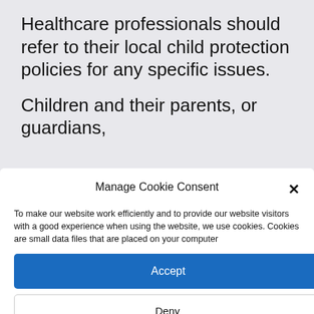Healthcare professionals should refer to their local child protection policies for any specific issues.
Children and their parents, or guardians,
Manage Cookie Consent
To make our website work efficiently and to provide our website visitors with a good experience when using the website, we use cookies. Cookies are small data files that are placed on your computer
Accept
Deny
View preferences
Cookie Information   Privacy